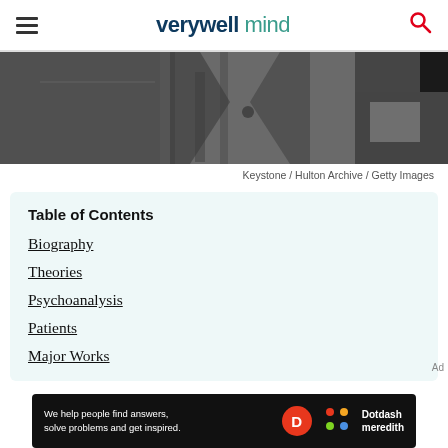verywell mind
[Figure (photo): Black and white photograph showing a man in a suit, partial view of upper torso]
Keystone / Hulton Archive / Getty Images
Table of Contents
Biography
Theories
Psychoanalysis
Patients
Major Works
[Figure (infographic): Dotdash Meredith advertisement banner: We help people find answers, solve problems and get inspired.]